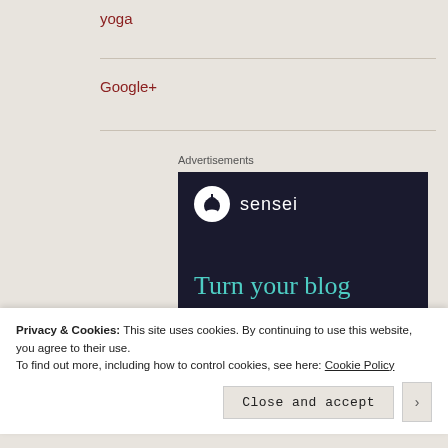yoga
Google+
Advertisements
[Figure (logo): Sensei advertisement banner with dark navy background showing the Sensei logo (white circle with tree icon) and wordmark 'sensei', and teal text 'Turn your blog']
Privacy & Cookies: This site uses cookies. By continuing to use this website, you agree to their use.
To find out more, including how to control cookies, see here: Cookie Policy
Close and accept